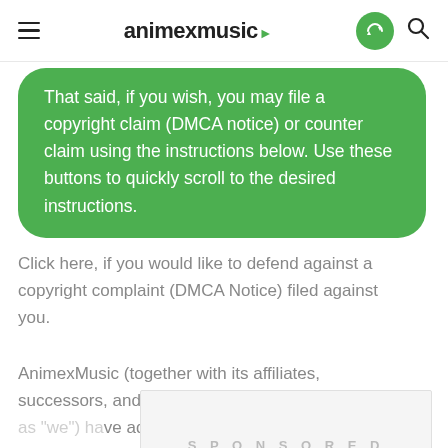animexmusic
That said, if you wish, you may file a copyright claim (DMCA notice) or counter claim using the instructions below. Use these buttons to quickly scroll to the desired instructions.
Click here, if you would like to defend against a copyright complaint (DMCA Notice) filed against you.
AnimexMusic (together with its affiliates, successors, and assig... ve adop... cess (the " Miller...
[Figure (other): SPONSORED advertisement placeholder overlay]